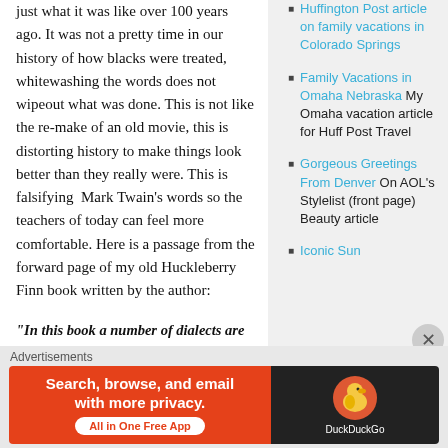just what it was like over 100 years ago. It was not a pretty time in our history of how blacks were treated, whitewashing the words does not wipeout what was done. This is not like the re-make of an old movie, this is distorting history to make things look better than they really were. This is falsifying  Mark Twain's words so the teachers of today can feel more comfortable. Here is a passage from the forward page of my old Huckleberry Finn book written by the author:
“In this book a number of dialects are used, to wit: the Missouri negro dialect; the extremest form of the backwoods.
Huffington Post article on family vacations in Colorado Springs
Family Vacations in Omaha Nebraska My Omaha vacation article for Huff Post Travel
Gorgeous Greetings From Denver On AOL’s Stylelist (front page) Beauty article
Iconic Sun
Advertisements
[Figure (other): DuckDuckGo advertisement banner: orange left panel reading 'Search, browse, and email with more privacy. All in One Free App' with white button, black right panel with DuckDuckGo duck logo and brand name.]